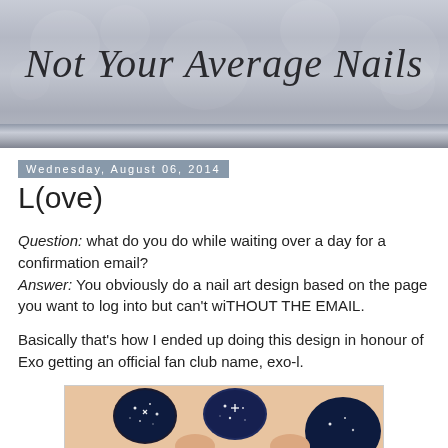[Figure (illustration): Blog header banner with bokeh silver/grey background and cursive script title 'Not Your Average Nails']
Wednesday, August 06, 2014
L(ove)
Question: what do you do while waiting over a day for a confirmation email?
Answer: You obviously do a nail art design based on the page you want to log into but can't wiTHOUT THE EMAIL.
Basically that's how I ended up doing this design in honour of Exo getting an official fan club name, exo-l.
[Figure (photo): Close-up photo of galaxy/space nail art on fingers, showing dark blue and black nails with white speckles on skin-toned hand]